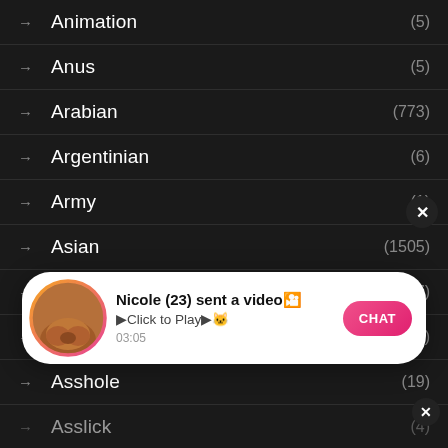Animation (5)
Anus (5)
Arabian (773)
Argentinian (6)
Army (1)
Asian (1505)
Ass (2077)
Assfucking (32)
Asshole (19)
Asslick (4)
[Figure (screenshot): Notification popup: Nicole (23) sent a video. Click to Play. CHAT button. Timestamp 03:05.]